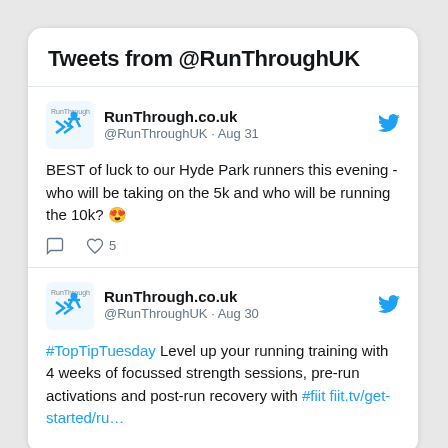Tweets from @RunThroughUK
[Figure (screenshot): RunThrough.co.uk Twitter card with logo, username @RunThroughUK, date Aug 31, tweet text: BEST of luck to our Hyde Park runners this evening - who will be taking on the 5k and who will be running the 10k? 😍, reply icon and heart icon with 5 likes]
[Figure (screenshot): RunThrough.co.uk Twitter card with logo, username @RunThroughUK, date Aug 30, tweet text: #TopTipTuesday Level up your running training with 4 weeks of focussed strength sessions, pre-run activations and post-run recovery with #fiit fiit.tv/get-started/ru…]